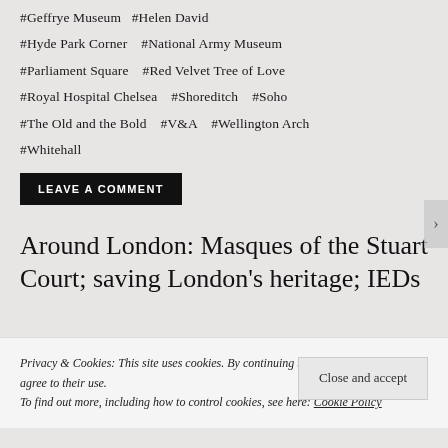#Geffrye Museum  #Helen David
#Hyde Park Corner  #National Army Museum
#Parliament Square  #Red Velvet Tree of Love
#Royal Hospital Chelsea  #Shoreditch  #Soho
#The Old and the Bold  #V&A  #Wellington Arch
#Whitehall
LEAVE A COMMENT
Around London: Masques of the Stuart Court; saving London's heritage; IEDs
Privacy & Cookies: This site uses cookies. By continuing to use this website, you agree to their use.
To find out more, including how to control cookies, see here: Cookie Policy
Close and accept